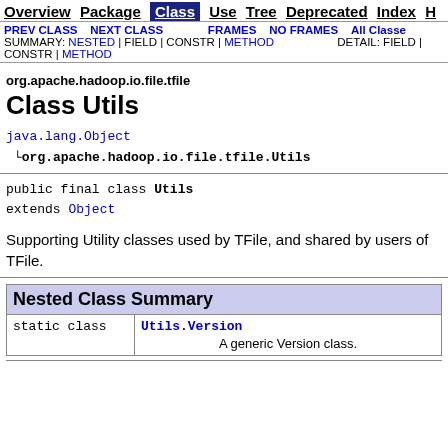Overview | Package | Class | Use | Tree | Deprecated | Index | H...
PREV CLASS | NEXT CLASS | FRAMES | NO FRAMES | All Classes | SUMMARY: NESTED | FIELD | CONSTR | METHOD | DETAIL: FIELD | CONSTR | METHOD
org.apache.hadoop.io.file.tfile
Class Utils
java.lang.Object
  └org.apache.hadoop.io.file.tfile.Utils
public final class Utils
extends Object
Supporting Utility classes used by TFile, and shared by users of TFile.
| Nested Class Summary |  |
| --- | --- |
| static class | Utils.Version
          A generic Version class. |